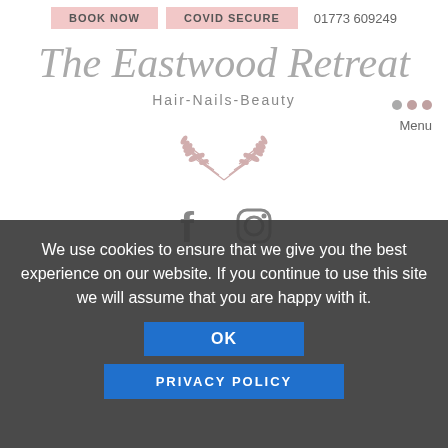BOOK NOW | COVID SECURE | 01773 609249
The Eastwood Retreat
Hair-Nails-Beauty
[Figure (illustration): Decorative laurel wreath illustration in muted pink/rose color]
[Figure (illustration): Facebook and Instagram social media icons in grey]
We use cookies to ensure that we give you the best experience on our website. If you continue to use this site we will assume that you are happy with it.
OK
PRIVACY POLICY